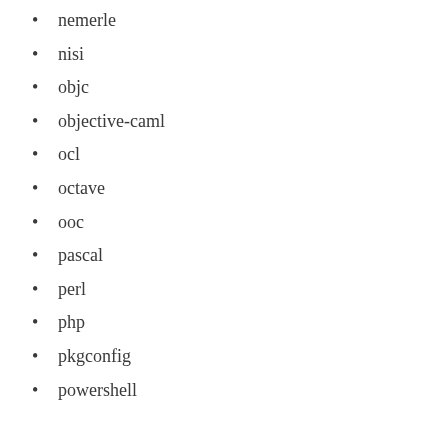nemerle
nisi
objc
objective-caml
ocl
octave
ooc
pascal
perl
php
pkgconfig
powershell